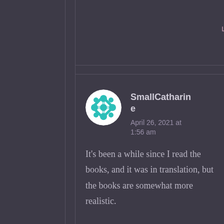↳ Reply
[Figure (illustration): Circular avatar with teal/cyan geometric snowflake-like pattern on white background]
SmallCatharine
April 26, 2021 at 1:56 am
It's been a while since I read the books, and it was in translation, but the books are somewhat more realistic. First, it is implied that